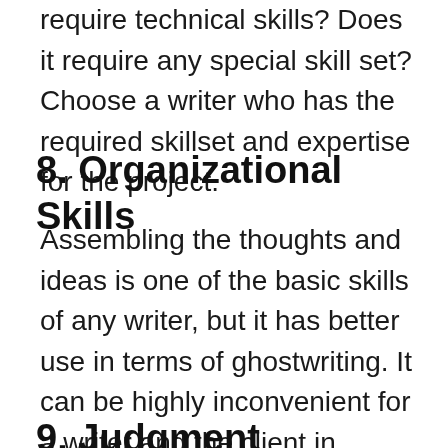require technical skills? Does it require any special skill set? Choose a writer who has the required skillset and expertise for the project.
8. Organizational Skills
Assembling the thoughts and ideas is one of the basic skills of any writer, but it has better use in terms of ghostwriting. It can be highly inconvenient for a writer and the client in organizing all the files and interview to get started with the project.
9. Judgment